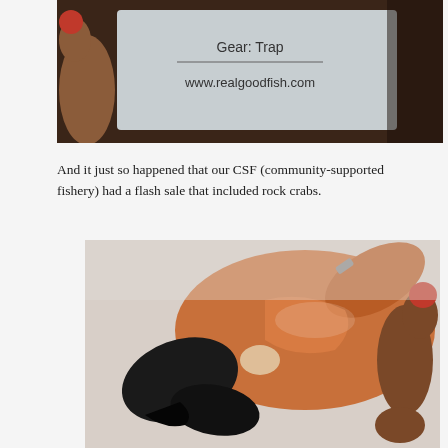[Figure (photo): Close-up photo of a hand with red nail polish holding a plastic bag with text 'Gear: Trap' and 'www.realgoodfish.com' printed on it.]
And it just so happened that our CSF (community-supported fishery) had a flash sale that included rock crabs.
[Figure (photo): Close-up photo of a hand with red nail polish holding a large rock crab claw, showing the black pincer tips and orange shell.]